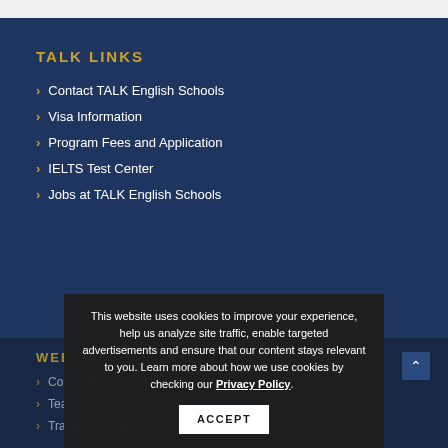TALK LINKS
Contact TALK English Schools
Visa Information
Program Fees and Application
IELTS Test Center
Jobs at TALK English Schools
WEBSITES
Corporate ...
Teachers
Translation Services
This website uses cookies to improve your experience, help us analyze site traffic, enable targeted advertisements and ensure that our content stays relevant to you. Learn more about how we use cookies by checking our Privacy Policy. ACCEPT